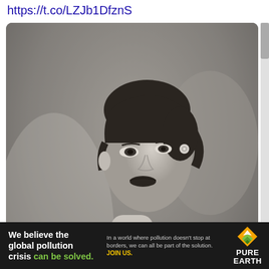https://t.co/LZJb1DfznS
[Figure (photo): Black and white photograph of an elegant woman wearing a jeweled necklace (choker) and earrings, dressed in a light-colored draped gown. She is photographed from a three-quarter angle. Watermark reads 'YOONIQ Images' in the lower left corner.]
[Figure (infographic): Advertisement banner for Pure Earth organization. Black background. Left section bold white text: 'We believe the global pollution crisis can be solved.' with 'can be solved.' in green. Middle section smaller gray text: 'In a world where pollution doesn't stop at borders, we can all be part of the solution.' followed by 'JOIN US.' in yellow. Right section shows Pure Earth logo with diamond/arrow icon and 'PURE EARTH' text in white.]